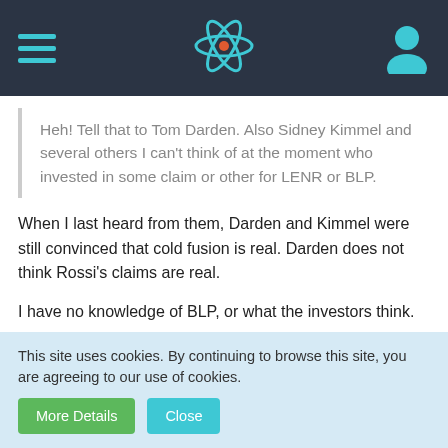Navigation bar with hamburger menu, atom logo, and user icon
Heh! Tell that to Tom Darden. Also Sidney Kimmel and several others I can't think of at the moment who invested in some claim or other for LENR or BLP.
When I last heard from them, Darden and Kimmel were still convinced that cold fusion is real. Darden does not think Rossi's claims are real.
I have no knowledge of BLP, or what the investors think.
Quote from seven_of_twenty
That's a bit hair splitting. How about demonstrations of
This site uses cookies. By continuing to browse this site, you are agreeing to our use of cookies.